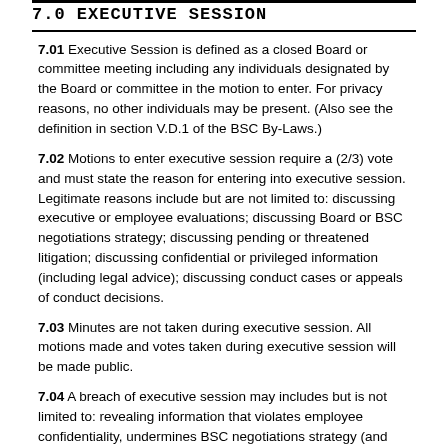7.0 EXECUTIVE SESSION
7.01 Executive Session is defined as a closed Board or committee meeting including any individuals designated by the Board or committee in the motion to enter. For privacy reasons, no other individuals may be present. (Also see the definition in section V.D.1 of the BSC By-Laws.)
7.02 Motions to enter executive session require a (2/3) vote and must state the reason for entering into executive session. Legitimate reasons include but are not limited to: discussing executive or employee evaluations; discussing Board or BSC negotiations strategy; discussing pending or threatened litigation; discussing confidential or privileged information (including legal advice); discussing conduct cases or appeals of conduct decisions.
7.03 Minutes are not taken during executive session. All motions made and votes taken during executive session will be made public.
7.04 A breach of executive session may includes but is not limited to: revealing information that violates employee confidentiality, undermines BSC negotiations strategy (and our ability to interact with outside entities), reveals details of pending or threatened litigation, compromises member confidentiality, non-disclosure agreements, privacy laws, etc. A breach may include divulging identifying information about proceedings to people present at the executive session. The committee chair or President will determine when executive session